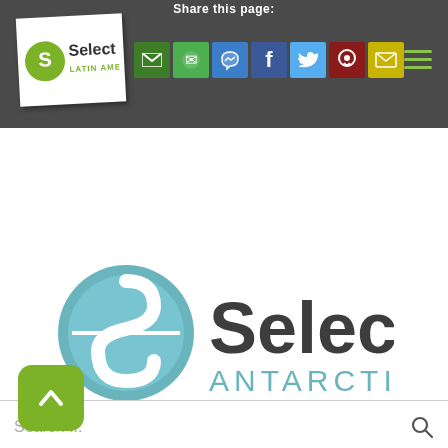Share this page:
[Figure (logo): Select Latin America logo in white tag, rotated slightly, on dark header bar]
[Figure (infographic): Row of social share buttons: green email, WhatsApp, Messenger, Facebook, Twitter, Pinterest, yellow email; hamburger menu on right]
[Figure (logo): Select Antarctica logo — teal circular S icon with 'Select' in dark grey and 'ANTARCTICA' in teal below]
[Figure (other): Green rounded back-to-top arrow button]
Search ...